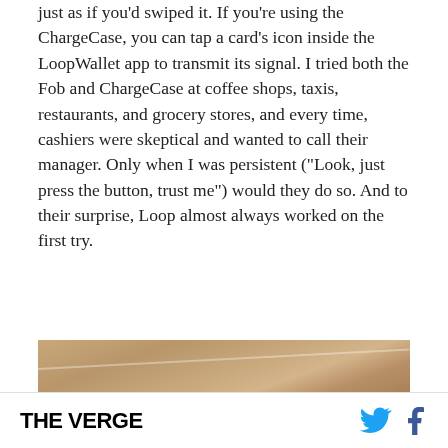just as if you'd swiped it. If you're using the ChargeCase, you can tap a card's icon inside the LoopWallet app to transmit its signal. I tried both the Fob and ChargeCase at coffee shops, taxis, restaurants, and grocery stores, and every time, cashiers were skeptical and wanted to call their manager. Only when I was persistent ("Look, just press the button, trust me") would they do so. And to their surprise, Loop almost always worked on the first try.
[Figure (photo): A close-up photo of a wooden surface (likely a countertop or table) with a diagonal light streak across it.]
THE VERGE